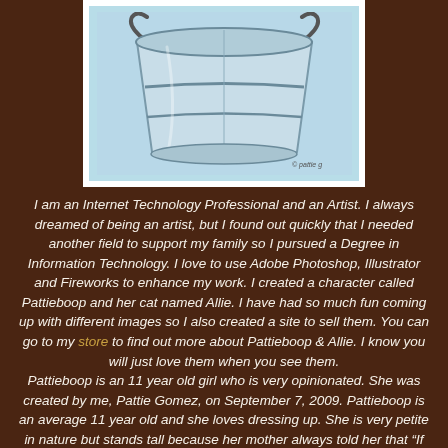[Figure (illustration): Illustration of a metal galvanized bucket/tub with handles, light blue background, white border]
I am an Internet Technology Professional and an Artist. I always dreamed of being an artist, but I found out quickly that I needed another field to support my family so I pursued a Degree in Information Technology. I love to use Adobe Photoshop, Illustrator and Fireworks to enhance my work. I created a character called Pattieboop and her cat named Allie. I have had so much fun coming up with different images so I also created a site to sell them. You can go to my store to find out more about Pattieboop & Allie. I know you will just love them when you see them. Pattieboop is an 11 year old girl who is very opinionated. She was created by me, Pattie Gomez, on September 7, 2009. Pattieboop is an average 11 year old and she loves dressing up. She is very petite in nature but stands tall because her mother always told her that "If you stand tall you will one day become someone important". Pattieboop always remembers her mother's words and makes sure sh